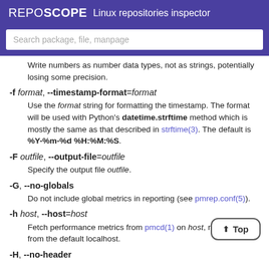REPOSCOPE  Linux repositories inspector
Search package, file, manpage
Write numbers as number data types, not as strings, potentially losing some precision.
-f format, --timestamp-format=format
Use the format string for formatting the timestamp. The format will be used with Python's datetime.strftime method which is mostly the same as that described in strftime(3). The default is %Y-%m-%d %H:%M:%S.
-F outfile, --output-file=outfile
Specify the output file outfile.
-G, --no-globals
Do not include global metrics in reporting (see pmrep.conf(5)).
-h host, --host=host
Fetch performance metrics from pmcd(1) on host, rather than from the default localhost.
-H, --no-header